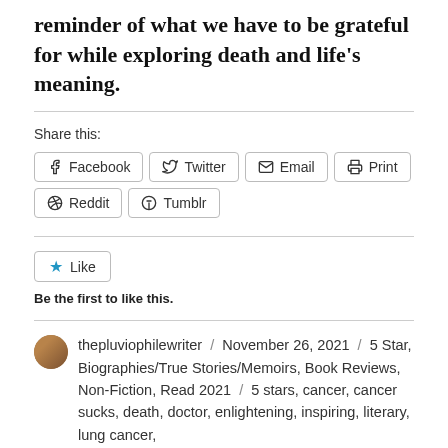reminder of what we have to be grateful for while exploring death and life's meaning.
Share this:
Facebook | Twitter | Email | Print | Reddit | Tumblr
Like
Be the first to like this.
thepluviophilewriter / November 26, 2021 / 5 Star, Biographies/True Stories/Memoirs, Book Reviews, Non-Fiction, Read 2021 / 5 stars, cancer, cancer sucks, death, doctor, enlightening, inspiring, literary, lung cancer,